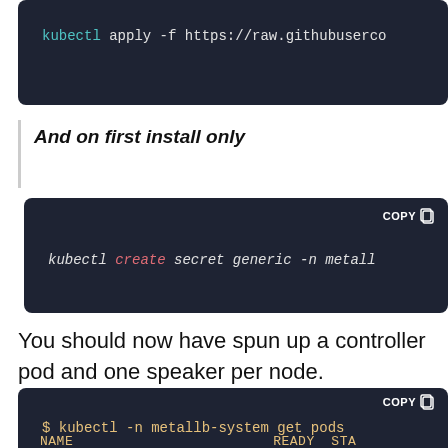[Figure (screenshot): Code block showing: kubectl apply -f https://raw.githubuserco]
And on first install only
[Figure (screenshot): Code block showing: kubectl create secret generic -n metall]
You should now have spun up a controller pod and one speaker per node.
[Figure (screenshot): Code block showing: $ kubectl -n metallb-system get pods with NAME and READY STA columns]